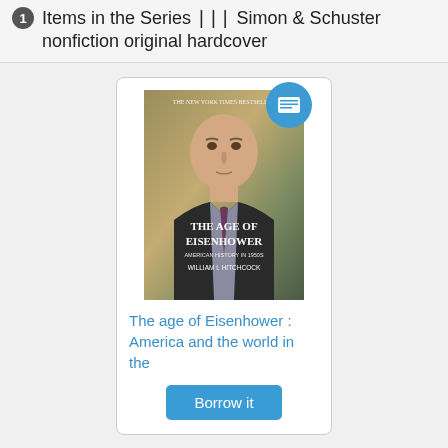1 Items in the Series ||| Simon & Schuster nonfiction original hardcover
[Figure (illustration): Book cover for 'The Age of Eisenhower' by William I. Hitchcock, showing a portrait of Eisenhower in a suit with a blue circular badge icon overlay in the top-right corner]
The age of Eisenhower : America and the world in the
Borrow it
Data from Simon & Schuster nonfiction original hardcover
Library Locations